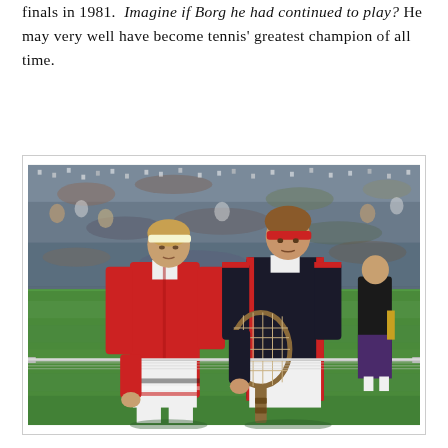finals in 1981. Imagine if Borg he had continued to play? He may very well have become tennis' greatest champion of all time.
[Figure (photo): Photograph of two male tennis players (Bjorn Borg and John McEnroe) standing at the net on a grass tennis court at Wimbledon, both wearing red track jackets. McEnroe holds a tennis racket. A packed crowd of spectators fills the stands behind them. A female official stands to the right.]